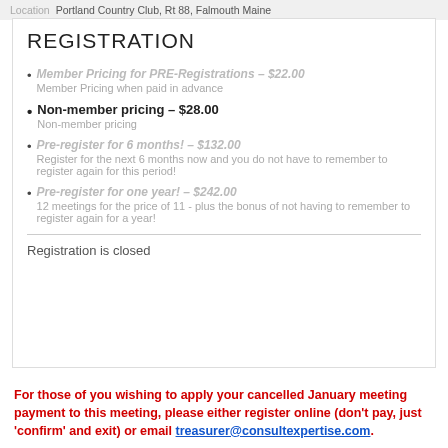Location    Portland Country Club, Rt 88, Falmouth Maine
REGISTRATION
Member Pricing for PRE-Registrations – $22.00
Member Pricing when paid in advance
Non-member pricing – $28.00
Non-member pricing
Pre-register for 6 months! – $132.00
Register for the next 6 months now and you do not have to remember to register again for this period!
Pre-register for one year! – $242.00
12 meetings for the price of 11 - plus the bonus of not having to remember to register again for a year!
Registration is closed
For those of you wishing to apply your cancelled January meeting payment to this meeting, please either register online (don't pay, just 'confirm' and exit) or email treasurer@consultexpertise.com.